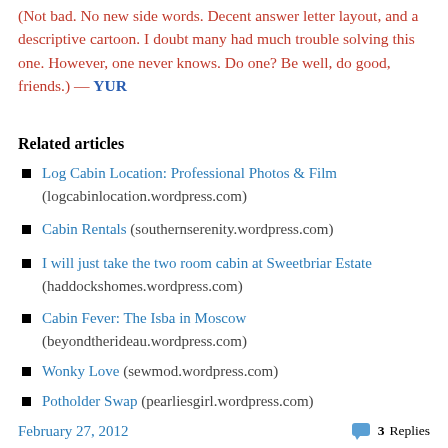(Not bad.  No new side words.  Decent answer letter layout, and a descriptive cartoon.  I doubt many had much trouble solving this one.  However, one never knows.   Do one?  Be well, do good, friends.)   —   YUR
Related articles
Log Cabin Location: Professional Photos & Film (logcabinlocation.wordpress.com)
Cabin Rentals (southernserenity.wordpress.com)
I will just take the two room cabin at Sweetbriar Estate (haddockshomes.wordpress.com)
Cabin Fever: The Isba in Moscow (beyondtherideau.wordpress.com)
Wonky Love (sewmod.wordpress.com)
Potholder Swap (pearliesgirl.wordpress.com)
February 27, 2012   3 Replies